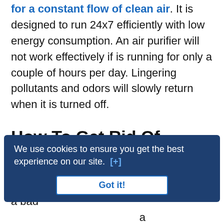for a constant flow of clean air. It is designed to run 24x7 efficiently with low energy consumption. An air purifier will not work effectively if is running for only a couple of hours per day. Lingering pollutants and odors will slowly return when it is turned off.
How To Get Rid Of Kitchen Smells
There are many ways you can get rid of a bad ... a ... or oven overnight to absorb stubborn odors. You